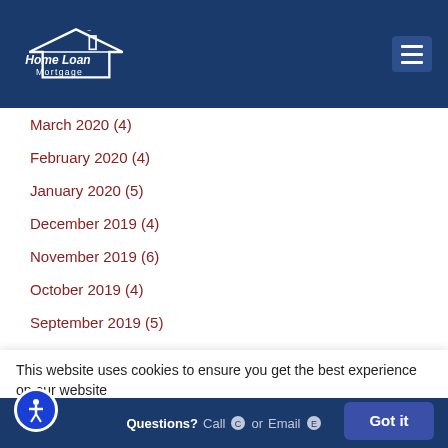Home Loan Mortgage
March 2020 (4)
February 2020 (4)
January 2020 (5)
December 2019 (4)
November 2019 (6)
October 2019 (4)
September 2019 (5)
August 2019 (4)
July 2019 (4)
June 2019 (4)
May 2019 (5)
This website uses cookies to ensure you get the best experience on our website
Questions? Call or Email